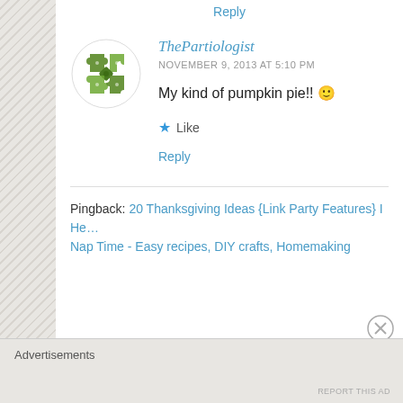Reply
[Figure (illustration): Circular avatar with green geometric puzzle-piece pattern on white background]
ThePartiologist
NOVEMBER 9, 2013 AT 5:10 PM
My kind of pumpkin pie!! 🙂
★ Like
Reply
Pingback: 20 Thanksgiving Ideas {Link Party Features} I He… Nap Time - Easy recipes, DIY crafts, Homemaking
Advertisements